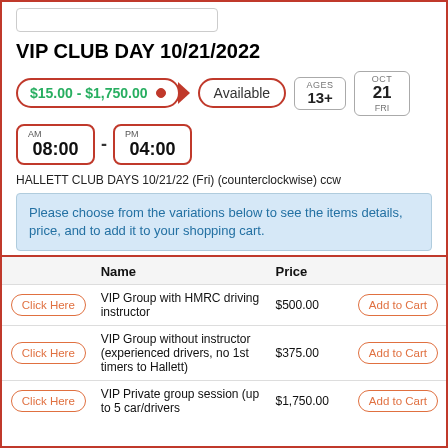VIP CLUB DAY 10/21/2022
$15.00 - $1,750.00  Available  AGES 13+  OCT 21 FRI
AM 08:00 - PM 04:00
HALLETT CLUB DAYS 10/21/22 (Fri) (counterclockwise) ccw
Please choose from the variations below to see the items details, price, and to add it to your shopping cart.
|  | Name | Price |  |
| --- | --- | --- | --- |
| Click Here | VIP Group with HMRC driving instructor | $500.00 | Add to Cart |
| Click Here | VIP Group without instructor (experienced drivers, no 1st timers to Hallett) | $375.00 | Add to Cart |
| Click Here | VIP Private group session (up to 5 car/drivers) | $1,750.00 | Add to Cart |